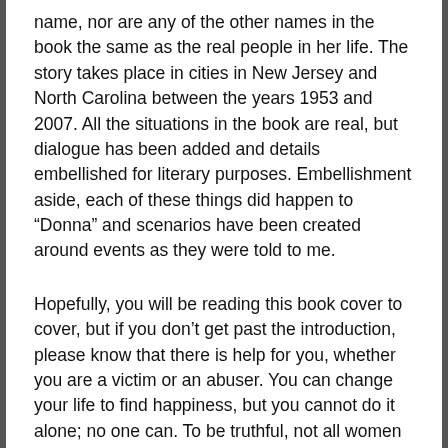name, nor are any of the other names in the book the same as the real people in her life. The story takes place in cities in New Jersey and North Carolina between the years 1953 and 2007. All the situations in the book are real, but dialogue has been added and details embellished for literary purposes. Embellishment aside, each of these things did happen to “Donna” and scenarios have been created around events as they were told to me.
Hopefully, you will be reading this book cover to cover, but if you don’t get past the introduction, please know that there is help for you, whether you are a victim or an abuser. You can change your life to find happiness, but you cannot do it alone; no one can. To be truthful, not all women are able to break free of these chains, but my hope is that you will find a way, and that this book will help you in your quest for